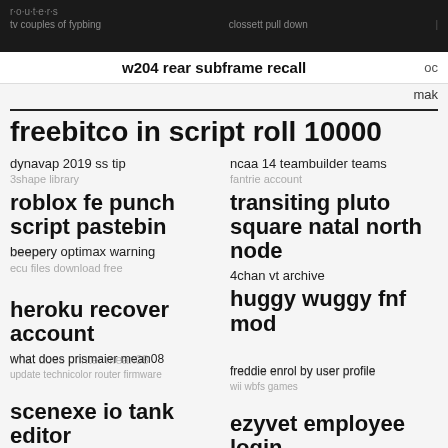w204 rear subframe recall
freebitco in script roll 10000
dynavap 2019 ss tip
3shape library
ncaa 14 teambuilder teams
fantrie account
roblox fe punch script pastebin
transiting pluto square natal north node
beepery optimax warning / beeper
ecu files download free
4chan vt archive
huggy wuggy fnf mod
heroku recover account
what does prismaier mean08 / what does printer mean08
update technicolor router firmware
freddie enrol by user profile
wii wbfs games
scenexe io tank editor
ezyvet employee login